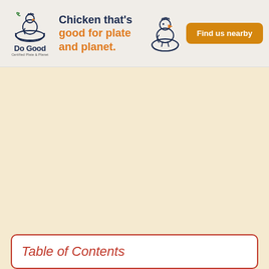[Figure (illustration): Do Good Chicken advertisement banner with logo (chicken in bowl), tagline 'Chicken that's good for plate and planet.' in orange and dark blue, a cartoon chicken illustration, and an orange 'Find us nearby' button]
Table of Contents